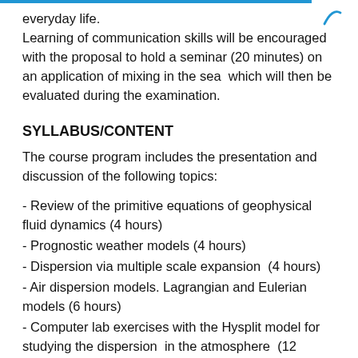everyday life.
Learning of communication skills will be encouraged with the proposal to hold a seminar (20 minutes) on an application of mixing in the sea  which will then be evaluated during the examination.
SYLLABUS/CONTENT
The course program includes the presentation and discussion of the following topics:
- Review of the primitive equations of geophysical fluid dynamics (4 hours)
- Prognostic weather models (4 hours)
- Dispersion via multiple scale expansion  (4 hours)
- Air dispersion models. Lagrangian and Eulerian models (6 hours)
- Computer lab exercises with the Hysplit model for studying the dispersion  in the atmosphere  (12 hours)